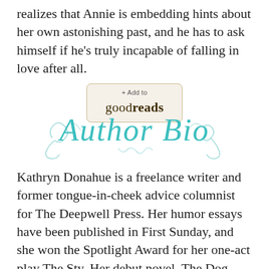realizes that Annie is embedding hints about her own astonishing past, and he has to ask himself if he's truly incapable of falling in love after all.
[Figure (other): Goodreads '+ Add to goodreads' button with rounded rectangle border]
[Figure (illustration): Decorative cursive script reading 'Author Bio' in teal/turquoise color with ornamental flourishes]
Kathryn Donahue is a freelance writer and former tongue-in-cheek advice columnist for The Deepwell Press. Her humor essays have been published in First Sunday, and she won the Spotlight Award for her one-act play The Sty. Her debut novel, The Dog Walker's Diary, is a Forward finalist for Indie Book of the Year. It earned a coveted star review from Publishers Weekly, (“… a diverting delight from beginning to end,”) and a four star rating from RT Book Reviews, (“… one of the